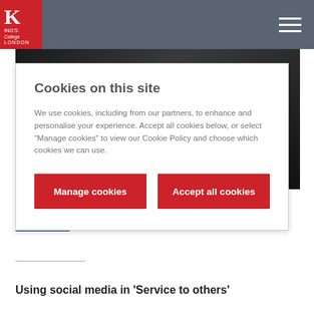King's College London
Cookies on this site
We use cookies, including from our partners, to enhance and personalise your experience. Accept all cookies below, or select “Manage cookies” to view our Cookie Policy and choose which cookies we can use.
Manage cookies | Accept all cookies
[Figure (photo): Partial photo of a person, visible in background behind cookie modal]
Read more
Using social media in 'Service to others'